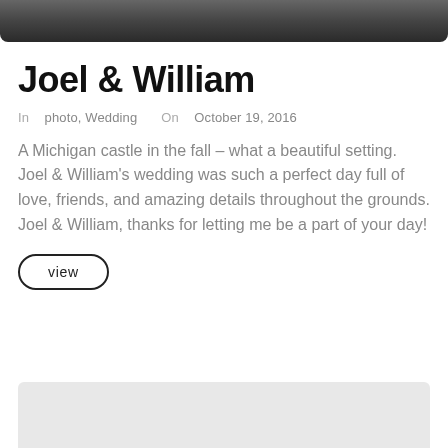[Figure (photo): Black and white photo of Joel and William, partially visible at top of page]
Joel & William
In  photo, Wedding    On  October 19, 2016
A Michigan castle in the fall – what a beautiful setting. Joel & William's wedding was such a perfect day full of love, friends, and amazing details throughout the grounds. Joel & William, thanks for letting me be a part of your day!
view
[Figure (photo): Bottom of page photo, light gray placeholder visible]